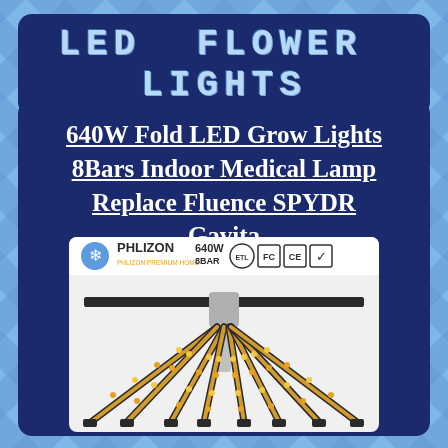LED FLOWER LIGHTS
640W Fold LED Grow Lights 8Bars Indoor Medical Lamp Replace Fluence SPYDR Gavita
[Figure (photo): Phlizon 640W 8BAR LED grow light product image showing 8 bars of warm LED strips arranged in a fan/spread pattern from a central mounting bracket. Certification logos (ETL, FC, CE) visible at top.]